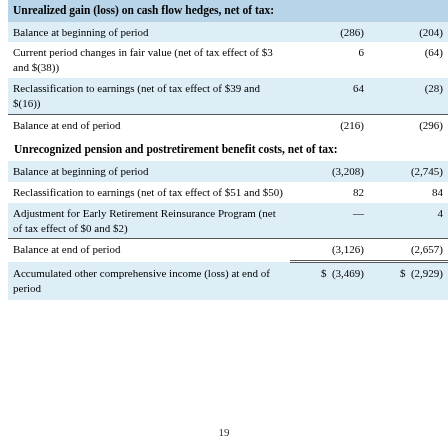|  |  |  |
| --- | --- | --- |
| Unrealized gain (loss) on cash flow hedges, net of tax: |  |  |
| Balance at beginning of period | (286) | (204) |
| Current period changes in fair value (net of tax effect of $3 and $(38)) | 6 | (64) |
| Reclassification to earnings (net of tax effect of $39 and $(16)) | 64 | (28) |
| Balance at end of period | (216) | (296) |
| Unrecognized pension and postretirement benefit costs, net of tax: |  |  |
| Balance at beginning of period | (3,208) | (2,745) |
| Reclassification to earnings (net of tax effect of $51 and $50) | 82 | 84 |
| Adjustment for Early Retirement Reinsurance Program (net of tax effect of $0 and $2) | — | 4 |
| Balance at end of period | (3,126) | (2,657) |
| Accumulated other comprehensive income (loss) at end of period | $ (3,469) | $ (2,929) |
19